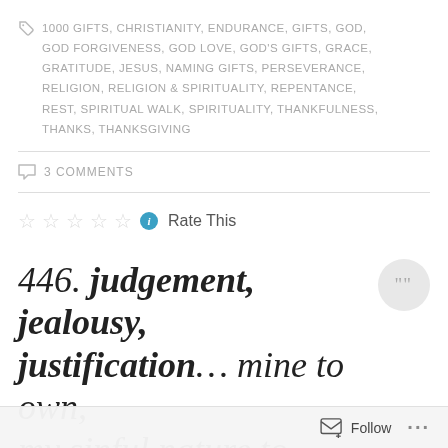1000 GIFTS, CHRISTIANITY, ENDURANCE, GIFTS, GOD, GOD FORGIVENESS, GOD LOVE, GOD'S GIFTS, GRACE, GRATITUDE, JESUS, NAMING GIFTS, PERSEVERANCE, RELIGION, RELIGION & SPIRITUALITY, REPENTANCE, REST, SPIRITUAL WALK, SPIRITUALITY, THANKFULNESS, THANKS, THANKSGIVING
3 COMMENTS
Rate This
446. judgement, jealousy, justification… mine to own, my sinful nature to
Follow